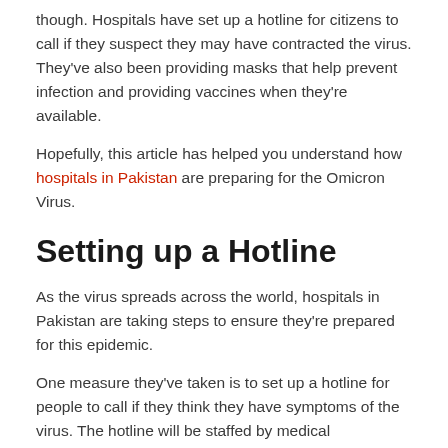though. Hospitals have set up a hotline for citizens to call if they suspect they may have contracted the virus. They've also been providing masks that help prevent infection and providing vaccines when they're available.
Hopefully, this article has helped you understand how hospitals in Pakistan are preparing for the Omicron Virus.
Setting up a Hotline
As the virus spreads across the world, hospitals in Pakistan are taking steps to ensure they're prepared for this epidemic.
One measure they've taken is to set up a hotline for people to call if they think they have symptoms of the virus. The hotline will be staffed by medical professionals 24 hours per day, 7 days per week.
The goal of the hotline is to provide information on